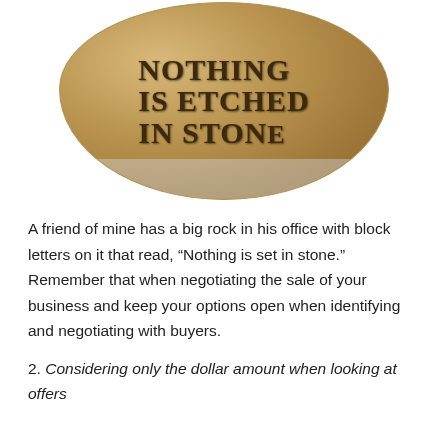[Figure (photo): A photo of a smooth oval stone engraved with the words 'NOTHING IS ETCHED IN STONE' in block letters, sitting on a clear plastic surface.]
A friend of mine has a big rock in his office with block letters on it that read, “Nothing is set in stone.”  Remember that when negotiating the sale of your business and keep your options open when identifying and negotiating with buyers.
2. Considering only the dollar amount when looking at offers